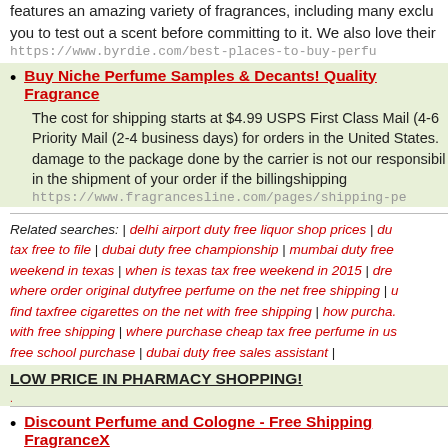features an amazing variety of fragrances, including many exclu... you to test out a scent before committing to it. We also love their
https://www.byrdie.com/best-places-to-buy-perfu
Buy Niche Perfume Samples & Decants! Quality Fragrance
The cost for shipping starts at $4.99 USPS First Class Mail (4-6 Priority Mail (2-4 business days) for orders in the United States. damage to the package done by the carrier is not our responsibil... in the shipment of your order if the billingshipping
https://www.fragrancesline.com/pages/shipping-pe
Related searches: | delhi airport duty free liquor shop prices | du... tax free to file | dubai duty free championship | mumbai duty free... weekend in texas | when is texas tax free weekend in 2015 | dre... where order original dutyfree perfume on the net free shipping | ... find taxfree cigarettes on the net with free shipping | how purcha... with free shipping | where purchase cheap tax free perfume in us... free school purchase | dubai duty free sales assistant |
LOW PRICE IN PHARMACY SHOPPING!
Discount Perfume and Cologne - Free Shipping FragranceX
Save up to 80% on men's and women's fragrance products from... only 100% genuine perfume for women and cologne for men, so... your favorite perfumes and get free shipping!